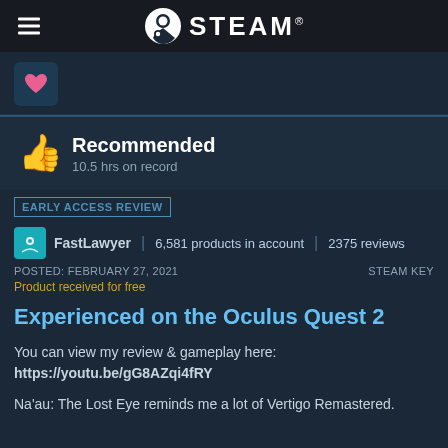STEAM®
[Figure (logo): Heart/love icon in a dark teal rounded square box]
Recommended
10.5 hrs on record
EARLY ACCESS REVIEW
FastLawyer | 6,581 products in account | 2375 reviews
POSTED: FEBRUARY 27, 2021    STEAM KEY
Product received for free
Experienced on the Oculus Quest 2
You can view my review & gameplay here:
https://youtu.be/gG8AZqi4fRY
Na'au: The Lost Eye reminds me a lot of Vertigo Remastered.